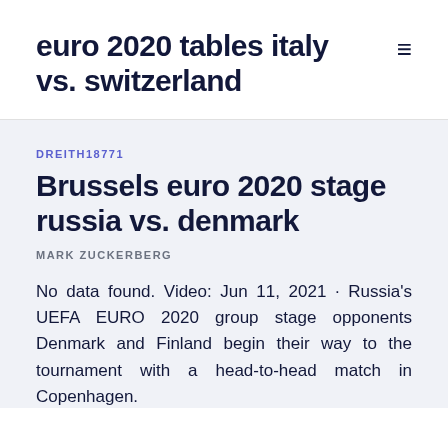euro 2020 tables italy vs. switzerland
DREITH18771
Brussels euro 2020 stage russia vs. denmark
MARK ZUCKERBERG
No data found. Video: Jun 11, 2021 · Russia's UEFA EURO 2020 group stage opponents Denmark and Finland begin their way to the tournament with a head-to-head match in Copenhagen.